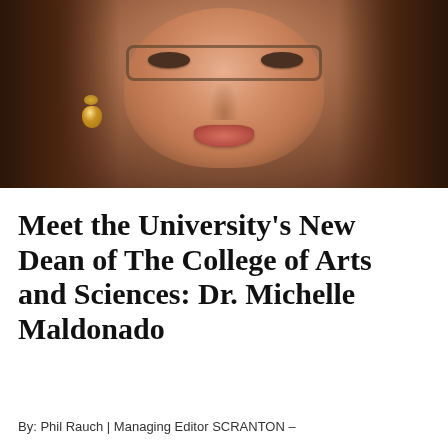[Figure (photo): Close-up portrait photo of Dr. Michelle Maldonado, a woman with brown hair, wearing glasses and gold drop earrings, smiling.]
Meet the University's New Dean of The College of Arts and Sciences: Dr. Michelle Maldonado
By: Phil Rauch | Managing Editor SCRANTON –